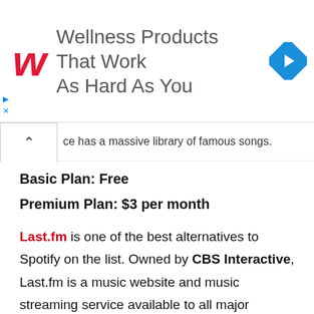[Figure (other): Walgreens advertisement banner: red italic W logo, text 'Wellness Products That Work As Hard As You', blue diamond navigation icon, with play and close controls.]
ce has a massive library of famous songs.
Basic Plan: Free
Premium Plan: $3 per month
Last.fm is one of the best alternatives to Spotify on the list. Owned by CBS Interactive, Last.fm is a music website and music streaming service available to all major platforms including Android and iOS as well.